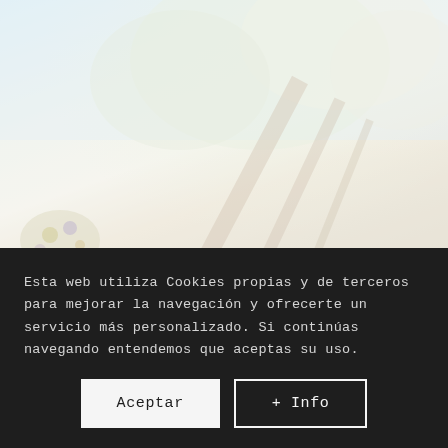[Figure (photo): Faded/washed-out outdoor photo showing trees with blossoms or leaves against a light sky, with what appears to be colorful flowers in the lower left corner. The image is very pale and desaturated.]
Esta web utiliza Cookies propias y de terceros para mejorar la navegación y ofrecerte un servicio más personalizado. Si continúas navegando entendemos que aceptas su uso.
Aceptar
+ Info